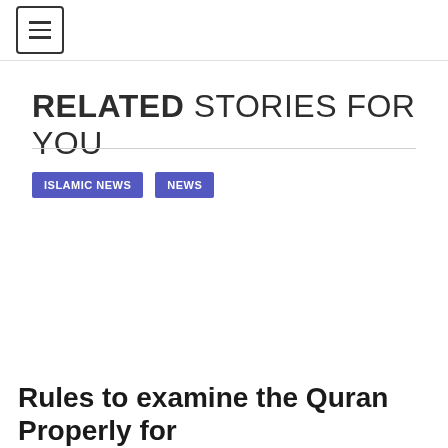≡
RELATED STORIES FOR YOU
ISLAMIC NEWS   NEWS
Rules to examine the Quran Properly for